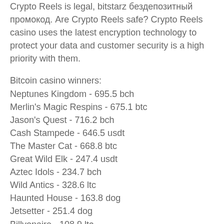Crypto Reels is legal, bitstarz бездепозитный промокод. Are Crypto Reels safe? Crypto Reels casino uses the latest encryption technology to protect your data and customer security is a high priority with them.
Bitcoin casino winners:
Neptunes Kingdom - 695.5 bch
Merlin's Magic Respins - 675.1 btc
Jason's Quest - 716.2 bch
Cash Stampede - 646.5 usdt
The Master Cat - 668.8 btc
Great Wild Elk - 247.4 usdt
Aztec Idols - 234.7 bch
Wild Antics - 328.6 ltc
Haunted House - 163.8 dog
Jetsetter - 251.4 dog
Billyonaire - 108.9 ltc
Judges Rule the Show - 393.6 dog
Revenge of Cyborgs - 434.9 bch